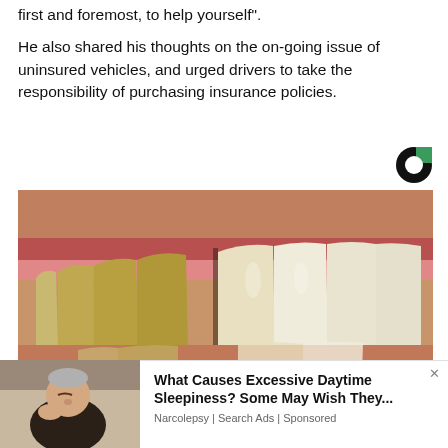first and foremost, to help yourself”.
He also shared his thoughts on the on-going issue of uninsured vehicles, and urged drivers to take the responsibility of purchasing insurance policies.
[Figure (logo): Circular logo with black circle and green square segment, Outbrain style]
[Figure (photo): Close-up photo of a person's mouth showing teeth, with yellowed teeth on left and whiter teeth on right, upper lip visible]
[Figure (photo): Advertisement photo showing an elderly man sleeping/dozing in a chair]
What Causes Excessive Daytime Sleepiness? Some May Wish They...
Narcolepsy | Search Ads | Sponsored